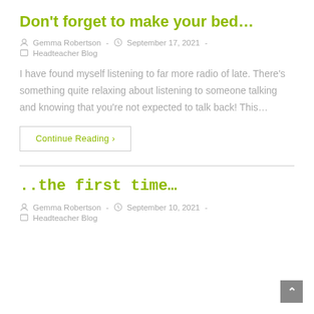Don't forget to make your bed…
Gemma Robertson  -  September 17, 2021  -  Headteacher Blog
I have found myself listening to far more radio of late. There's something quite relaxing about listening to someone talking and knowing that you're not expected to talk back! This…
Continue Reading ›
..the first time…
Gemma Robertson  -  September 10, 2021  -  Headteacher Blog